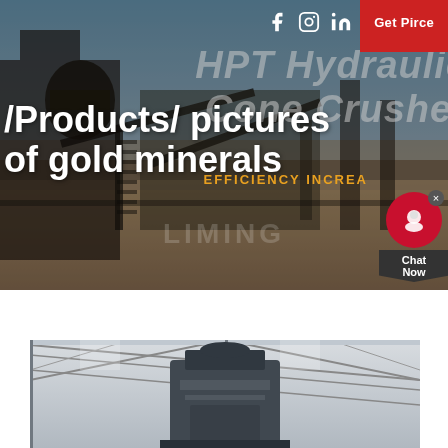[Figure (photo): Industrial mining/crushing plant facility with heavy machinery, conveyors, and processing equipment against a sky background. Hero banner image.]
ƒ  in
Get Pirce
HPT Hydraulic Cone Crusher
EFFICIENCY INCREA
/Products/ pictures of gold minerals
Chat Now
[Figure (photo): Close-up of industrial crushing equipment in a factory/warehouse with steel roof trusses visible in background.]